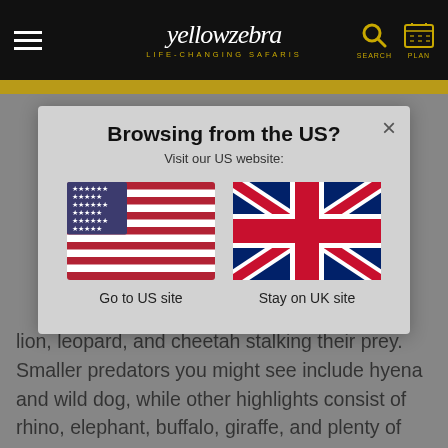[Figure (screenshot): Yellow Zebra Safaris website header with hamburger menu, logo, search and plan icons on black background]
[Figure (screenshot): Modal dialog: Browsing from the US? Visit our US website. Options: Go to US site (US flag) or Stay on UK site (UK flag)]
Browsing from the US?
Visit our US website:
Go to US site
Stay on UK site
lion, leopard, and cheetah stalking their prey. Smaller predators you might see include hyena and wild dog, while other highlights consist of rhino, elephant, buffalo, giraffe, and plenty of